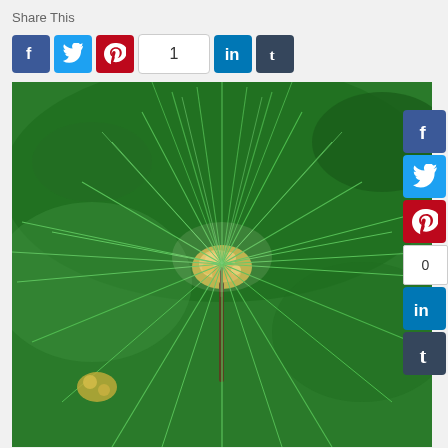Share This
[Figure (photo): Close-up photo of pine tree needles with a small budding cone cluster at the center. The needles radiate outward in all directions. Background shows blurred green foliage.]